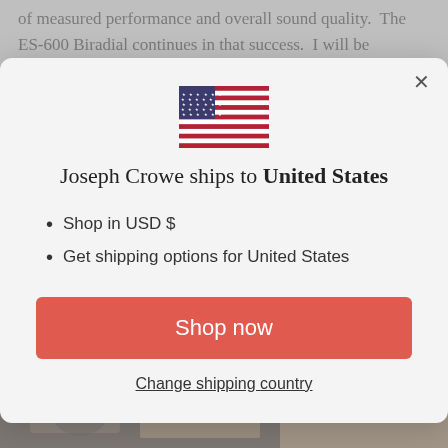of measured performance and overall sound quality.  The ES-600 Biradial continues in that success.  I will be
[Figure (screenshot): A modal dialog box showing a US flag, shipping information for Joseph Crowe to United States, with a 'Shop now' button and a 'Change shipping country' link]
Joseph Crowe ships to United States
Shop in USD $
Get shipping options for United States
Shop now
Change shipping country